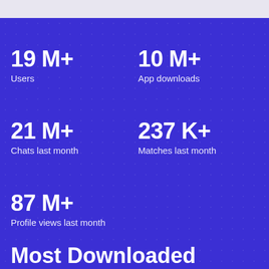19 M+
Users
10 M+
App downloads
21 M+
Chats last month
237 K+
Matches last month
87 M+
Profile views last month
Most Downloaded